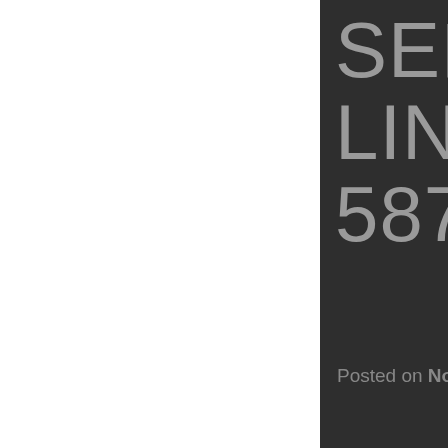SERIES 14L 12.7L LINER INSTALLER 5874
Posted on November 10, 2021 by admin